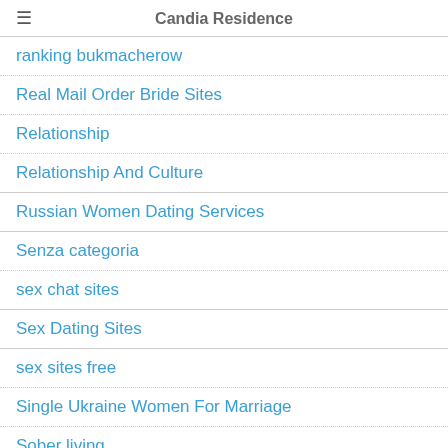Candia Residence
ranking bukmacherow
Real Mail Order Bride Sites
Relationship
Relationship And Culture
Russian Women Dating Services
Senza categoria
sex chat sites
Sex Dating Sites
sex sites free
Single Ukraine Women For Marriage
Sober living